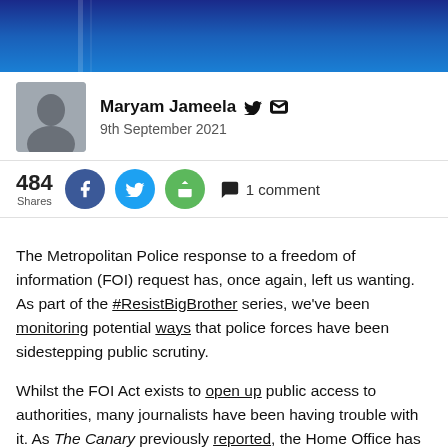[Figure (photo): Hero image with dark blue background and a faint vertical stripe on the left side]
Maryam Jameela  [twitter icon] [email icon]
9th September 2021
484 Shares [Facebook share button] [Twitter share button] [Share button]  1 comment
The Metropolitan Police response to a freedom of information (FOI) request has, once again, left us wanting. As part of the #ResistBigBrother series, we've been monitoring potential ways that police forces have been sidestepping public scrutiny.

Whilst the FOI Act exists to open up public access to authorities, many journalists have been having trouble with it. As The Canary previously reported, the Home Office has had to remind its press officers of a duty to impartiality after we uncovered their inconsistent responses to us. We also reported on an Open Democracy investigation which